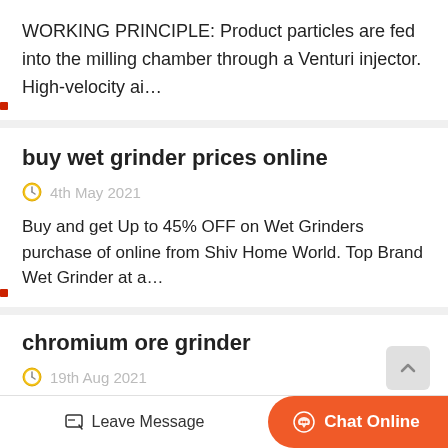WORKING PRINCIPLE: Product particles are fed into the milling chamber through a Venturi injector. High-velocity ai…
buy wet grinder prices online
4th May 2021
Buy and get Up to 45% OFF on Wet Grinders purchase of online from Shiv Home World. Top Brand Wet Grinder at a…
chromium ore grinder
19th Aug 2021
May 30. 2015 Chromium Crush…
Leave Message
Chat Online